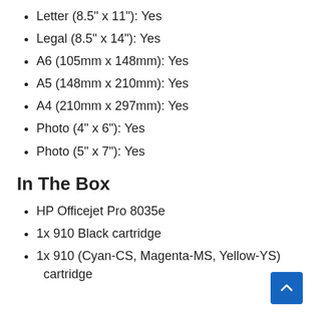Letter (8.5" x 11"): Yes
Legal (8.5" x 14"): Yes
A6 (105mm x 148mm): Yes
A5 (148mm x 210mm): Yes
A4 (210mm x 297mm): Yes
Photo (4" x 6"): Yes
Photo (5" x 7"): Yes
In The Box
HP Officejet Pro 8035e
1x 910 Black cartridge
1x 910 (Cyan-CS, Magenta-MS, Yellow-YS) cartridge